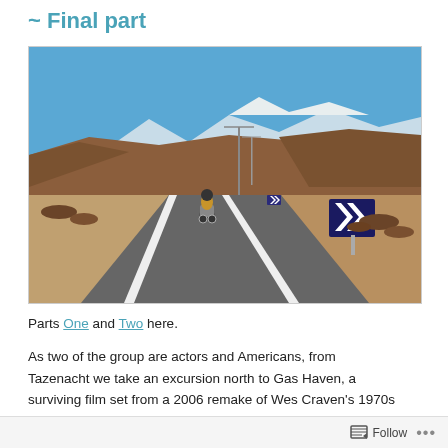~ Final part
[Figure (photo): Motorcycle rider on a winding desert road through arid brown hills, blue sky with snow-capped mountains in the distance, chevron warning sign on the right side of the road]
Parts One and Two here.
As two of the group are actors and Americans, from Tazenacht we take an excursion north to Gas Haven, a surviving film set from a 2006 remake of Wes Craven's 1970s
Follow ...